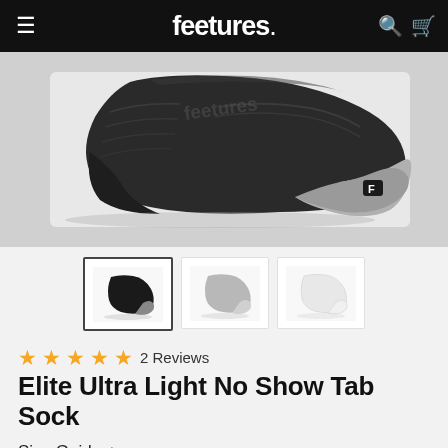feetures.
[Figure (photo): Side profile of a black and grey Feetures performance no-show running sock on a light grey background, with 'feetures' text on the cuff.]
[Figure (photo): Thumbnail row showing three color variants of the no-show sock: black (selected), light grey, and white.]
★★★★★ 2 Reviews
Elite Ultra Light No Show Tab Sock
Size Guide >
£14.00